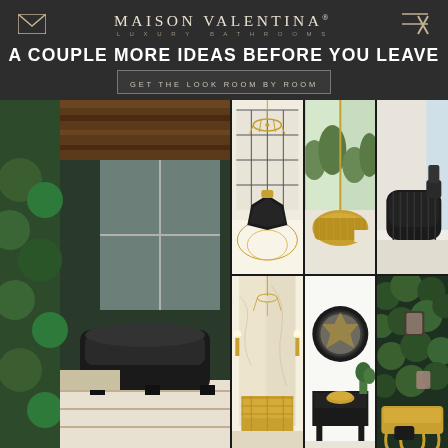MAISON VALENTINA® · LUXURY BATHROOMS
A COUPLE MORE IDEAS BEFORE YOU LEAVE
GET THE LOOK ROOM BY ROOM
[Figure (photo): Grid of 7 luxury bathroom interior design photos showing high-end bathtubs, vanities, marble floors, gold fixtures, and lush plant walls in various elegant settings]
[Figure (photo): Large left panel: dark bathtub with green plant wall and wood ceiling]
[Figure (photo): Top middle-left: black diamond-shaped bathtub with ornate chandelier and gold tile floor]
[Figure (photo): Top middle-right: round gold ribbed bathtub with large windows overlooking garden]
[Figure (photo): Top right: standalone black ribbed bathtub in minimal white room]
[Figure (photo): Bottom middle-left: tall marble bathroom with chandelier and gold ornate sink console]
[Figure (photo): Bottom middle-right: black console table with mirror and gold sink in white room]
[Figure (photo): Bottom right: gold-legged vanity console with green plant wall and mirror]